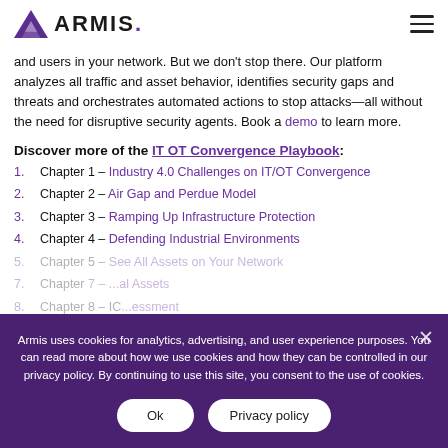ARMIS.
and users in your network. But we don't stop there. Our platform analyzes all traffic and asset behavior, identifies security gaps and threats and orchestrates automated actions to stop attacks—all without the need for disruptive security agents. Book a demo to learn more.
Discover more of the IT OT Convergence Playbook:
1. Chapter 1 – Industry 4.0 Challenges on IT/OT Convergence
2. Chapter 2 – Air Gap and Perdue Model
3. Chapter 3 – Ramping Up Infrastructure Protection
4. Chapter 4 – Defending Industrial Environments
5. Chapter 5 – See All Assets on Your Network
7. Chapter 7 – ...al Assets
8. Chapter 8 – ICS...essment
9. Chapter 9 – Cybersecurity Frameworks to Secure OT assets
Armis uses cookies for analytics, advertising, and user experience purposes. You can read more about how we use cookies and how they can be controlled in our privacy policy. By continuing to use this site, you consent to the use of cookies.